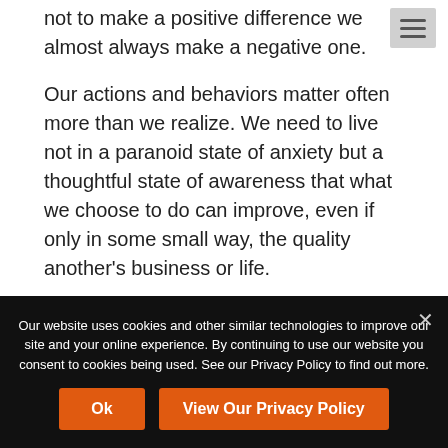not to make a positive difference we almost always make a negative one.
Our actions and behaviors matter often more than we realize. We need to live not in a paranoid state of anxiety but a thoughtful state of awareness that what we choose to do can improve, even if only in some small way, the quality another's business or life.
For a sales person, calling on customer accounts is activity; making a positive difference to those accounts is accomplishment. Managing people is a needed
Our website uses cookies and other similar technologies to improve our site and your online experience. By continuing to use our website you consent to cookies being used. See our Privacy Policy to find out more.